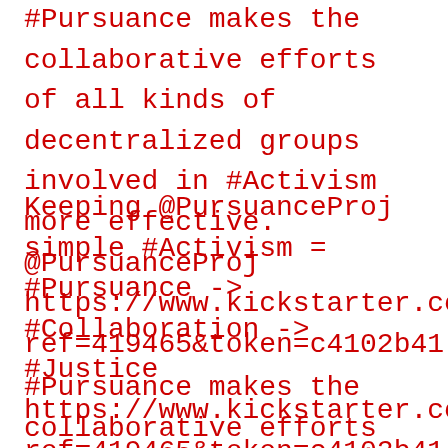#Pursuance makes the collaborative efforts of all kinds of decentralized groups involved in #Activism more effective. @PursuanceProj https://www.kickstarter.com/projects/85883596/655895491?ref=419465&token=c4102b41
Keeping @PursuanceProj simple #Activism = #Pursuance -> #Collaboration -> #Justice https://www.kickstarter.com/projects/85883596/655895491?ref=419465&token=c4102b41
#Pursuance makes the collaborative efforts of all kinds of decentralized groups involved in #Activism more effective. @PursuanceProj